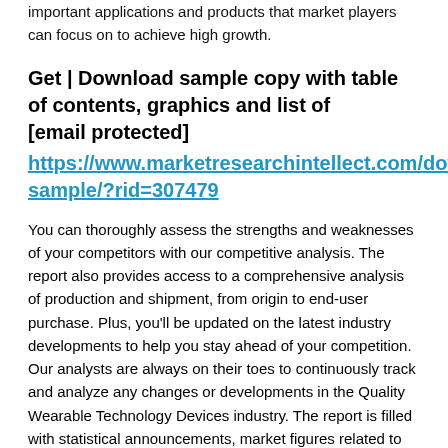important applications and products that market players can focus on to achieve high growth.
Get | Download sample copy with table of contents, graphics and list of [email protected]
https://www.marketresearchintellect.com/download-sample/?rid=307479
You can thoroughly assess the strengths and weaknesses of your competitors with our competitive analysis. The report also provides access to a comprehensive analysis of production and shipment, from origin to end-user purchase. Plus, you’ll be updated on the latest industry developments to help you stay ahead of your competition. Our analysts are always on their toes to continuously track and analyze any changes or developments in the Quality Wearable Technology Devices industry. The report is filled with statistical announcements, market figures related to annual revenue, volume, average and share, as well as global and regional market forecasts.